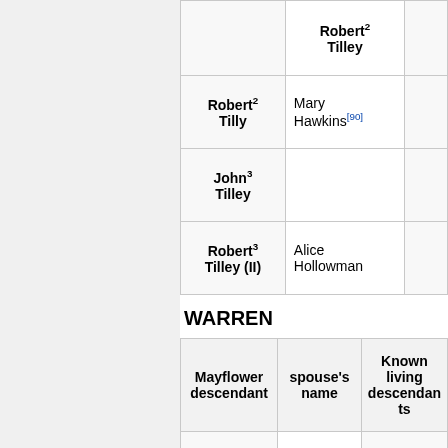| Mayflower descendant | spouse's name | Known living descendants |
| --- | --- | --- |
| Robert² Tilley |  |  |
| Robert² Tilly | Mary Hawkins[90] |  |
| John³ Tilley |  |  |
| Robert³ Tilley (II) | Alice Hollowman |  |
WARREN
| Mayflower descendant | spouse's name | Known living descendants |
| --- | --- | --- |
|  | Mary² Warren |  |
| Benjamin³ | m1) Susanna | no children |